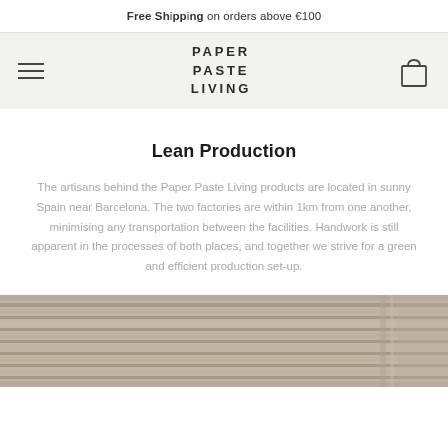Free Shipping on orders above €100
[Figure (logo): Paper Paste Living logo with hamburger menu and cart icon in a light grey header]
Lean Production
The artisans behind the Paper Paste Living products are located in sunny Spain near Barcelona. The two factories are within 1km from one another, minimising any transportation between the facilities. Handwork is still apparent in the processes of both places, and together we strive for a green and efficient production set-up.
[Figure (photo): Partial photo of what appears to be an industrial or architectural structure with horizontal lines and panels in warm beige/taupe tones]